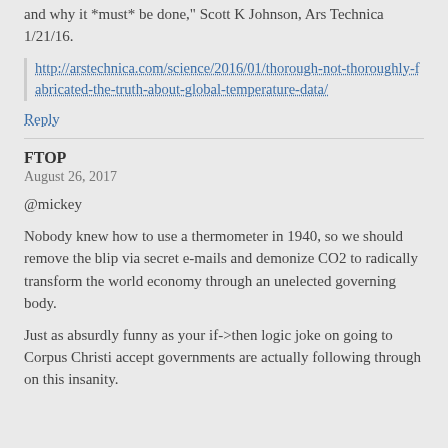and why it *must* be done," Scott K Johnson, Ars Technica 1/21/16.
http://arstechnica.com/science/2016/01/thorough-not-thoroughly-fabricated-the-truth-about-global-temperature-data/
Reply
FTOP
August 26, 2017
@mickey
Nobody knew how to use a thermometer in 1940, so we should remove the blip via secret e-mails and demonize CO2 to radically transform the world economy through an unelected governing body.
Just as absurdly funny as your if->then logic joke on going to Corpus Christi accept governments are actually following through on this insanity.